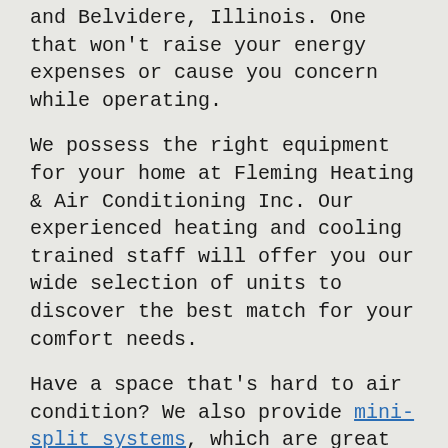and Belvidere, Illinois. One that won't raise your energy expenses or cause you concern while operating.
We possess the right equipment for your home at Fleming Heating & Air Conditioning Inc. Our experienced heating and cooling trained staff will offer you our wide selection of units to discover the best match for your comfort needs.
Have a space that’s hard to air condition? We also provide mini-split systems, which are great for new construction, breezeways or other spaces without ductwork.
We recognize cost is an crucial part of the solution, so our employees will talk through your household relaxation needs with you and your family. Then, you'll have a better example